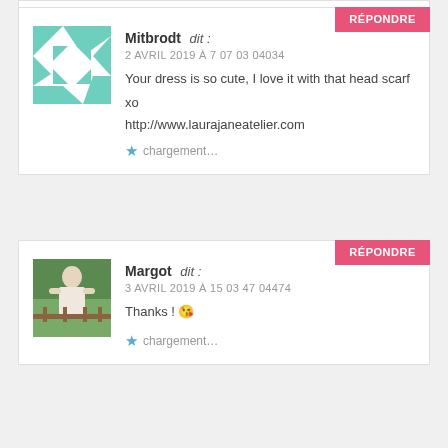Mitbrodt dit : 2 AVRIL 2019 À 7 07 03 04034
Your dress is so cute, I love it with that head scarf
xo
http://www.laurajaneatelier.com
chargement...
Margot dit : 3 AVRIL 2019 À 15 03 47 04474
Thanks ! 😘
chargement...